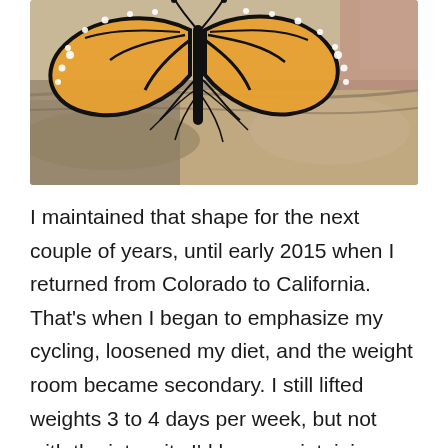[Figure (photo): Close-up photo of a monarch butterfly with black, orange, and white patterned wings, perched on a rough gray stone or rock surface.]
I maintained that shape for the next couple of years, until early 2015 when I returned from Colorado to California. That's when I began to emphasize my cycling, loosened my diet, and the weight room became secondary. I still lifted weights 3 to 4 days per week, but not with the intensity I'd been maintaining since my early teens.